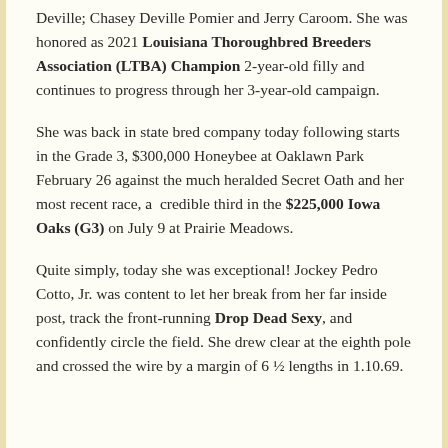Deville; Chasey Deville Pomier and Jerry Caroom. She was honored as 2021 Louisiana Thoroughbred Breeders Association (LTBA) Champion 2-year-old filly and continues to progress through her 3-year-old campaign.
She was back in state bred company today following starts in the Grade 3, $300,000 Honeybee at Oaklawn Park February 26 against the much heralded Secret Oath and her most recent race, a credible third in the $225,000 Iowa Oaks (G3) on July 9 at Prairie Meadows.
Quite simply, today she was exceptional! Jockey Pedro Cotto, Jr. was content to let her break from her far inside post, track the front-running Drop Dead Sexy, and confidently circle the field. She drew clear at the eighth pole and crossed the wire by a margin of 6 ½ lengths in 1.10.69.